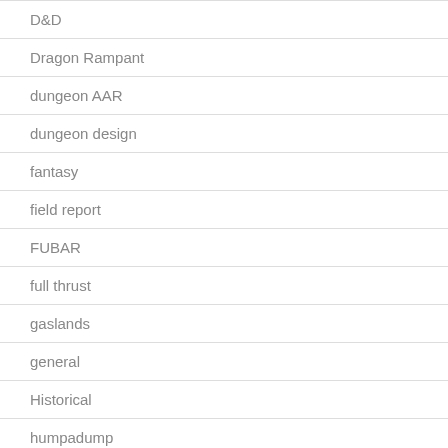D&D
Dragon Rampant
dungeon AAR
dungeon design
fantasy
field report
FUBAR
full thrust
gaslands
general
Historical
humpadump